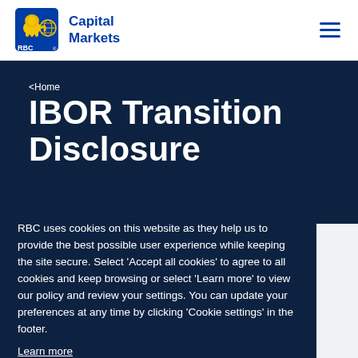[Figure (logo): RBC Capital Markets logo with lion and globe shield emblem, blue shield with yellow lion, text reading 'Capital Markets' in blue]
< Home
IBOR Transition Disclosure
RBC uses cookies on this website as they help us to provide the best possible user experience while keeping the site secure. Select 'Accept all cookies' to agree to all cookies and keep browsing or select 'Learn more' to view our policy and review your settings. You can update your preferences at any time by clicking 'Cookie settings' in the footer.
Learn more
Accept all cookies
Cookie Settings
Transition